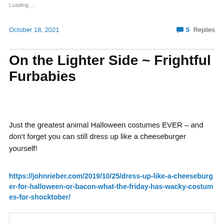Loading…
October 18, 2021
💬 5 Replies
On the Lighter Side ~ Frightful Furbabies
Just the greatest animal Halloween costumes EVER – and don't forget you can still dress up like a cheeseburger yourself!
https://johnrieber.com/2019/10/25/dress-up-like-a-cheeseburger-for-halloween-or-bacon-what-the-friday-has-wacky-costumes-for-shocktober/